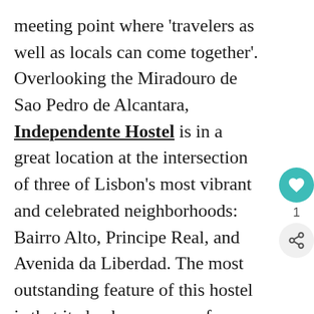meeting point where 'travelers as well as locals can come together'. Overlooking the Miradouro de Sao Pedro de Alcantara, Independente Hostel is in a great location at the intersection of three of Lisbon's most vibrant and celebrated neighborhoods: Bairro Alto, Principe Real, and Avenida da Liberdad. The most outstanding feature of this hostel is that it also houses one of Lisbon's most stylish and popular restaurants. The Decadente is known for serving up modern Portuguese cuisine using locally sourced ingredients. The staff here are friendly travellers themselves, and the perfect opportunity to mingle with them is the nightly 'dinner with the staff' where you get to enjoy a sumptuous buffet for as little